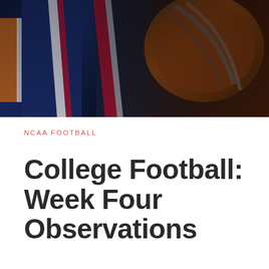[Figure (photo): Football jerseys and helmets close-up, dark tones with orange, navy blue, white, and red colors, depicting college football gear]
NCAA FOOTBALL
College Football: Week Four Observations